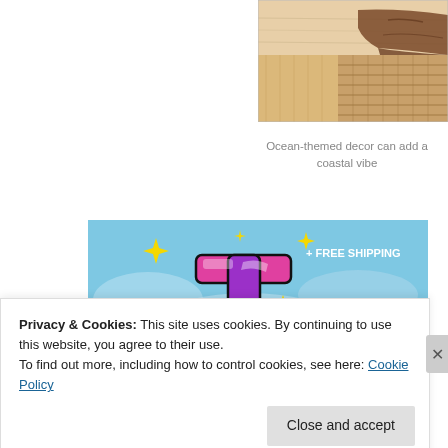[Figure (photo): Close-up of ocean-themed wooden decor with wicker basket texture and brown fabric draped over the corner of a light wood box]
Ocean-themed decor can add a coastal vibe
[Figure (screenshot): Advertisement banner with blue sky background, yellow sparkle stars, and a pink/purple stylized letter 't' logo with text '+ FREE SHIPPING' and partially visible text 'TUMBLR AD FREE' at the bottom]
Privacy & Cookies: This site uses cookies. By continuing to use this website, you agree to their use.
To find out more, including how to control cookies, see here: Cookie Policy
Close and accept